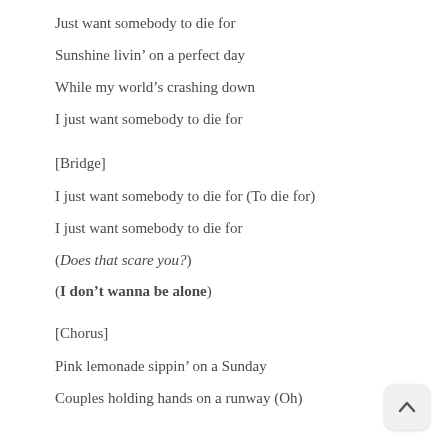Just want somebody to die for
Sunshine livin’ on a perfect day
While my world’s crashing down
I just want somebody to die for
[Bridge]
I just want somebody to die for (To die for)
I just want somebody to die for
(Does that scare you?)
(​I don’t wanna be alone)
[Chorus]
Pink lemonade sippin’ on a Sunday
Couples holding hands on a runway (Oh)
They’re all posing in a picture frame
Whilst my world’s crashing down
Solo shadow on a sidewalk
Just want somebody to die for